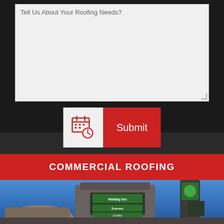Tell Us About Your Roofing Needs?
[Figure (screenshot): Submit button with calendar/clock icon on left (white background) and red 'Submit' label on right]
COMMERCIAL ROOFING
[Figure (photo): Holiday Inn Express & Suites building exterior at night with blue sky, illuminated green signs]